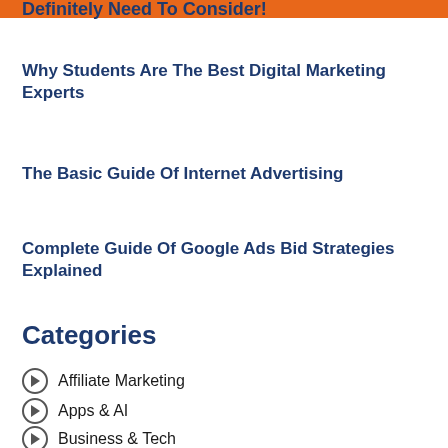Definitely Need To Consider!
Why Students Are The Best Digital Marketing Experts
The Basic Guide Of Internet Advertising
Complete Guide Of Google Ads Bid Strategies Explained
Categories
Affiliate Marketing
Apps & AI
Business & Tech
Content Marketing